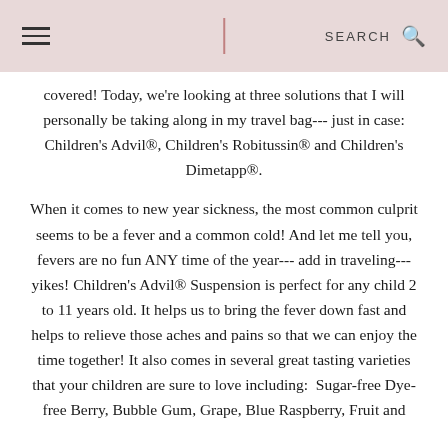SEARCH
covered! Today, we're looking at three solutions that I will personally be taking along in my travel bag--- just in case: Children's Advil®, Children's Robitussin® and Children's Dimetapp®.

When it comes to new year sickness, the most common culprit seems to be a fever and a common cold! And let me tell you, fevers are no fun ANY time of the year--- add in traveling--- yikes! Children's Advil® Suspension is perfect for any child 2 to 11 years old. It helps us to bring the fever down fast and helps to relieve those aches and pains so that we can enjoy the time together! It also comes in several great tasting varieties that your children are sure to love including: Sugar-free Dye-free Berry, Bubble Gum, Grape, Blue Raspberry, Fruit and